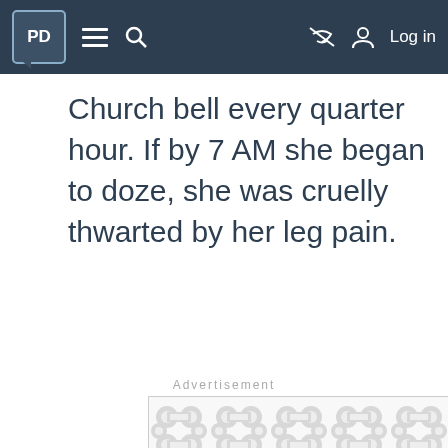PD navigation bar with logo, menu, search, eye-slash icon, and Log in
Church bell every quarter hour. If by 7 AM she began to doze, she was cruelly thwarted by her leg pain.
Advertisement
[Figure (other): Advertisement placeholder with decorative grey blob/droplet pattern on white background]